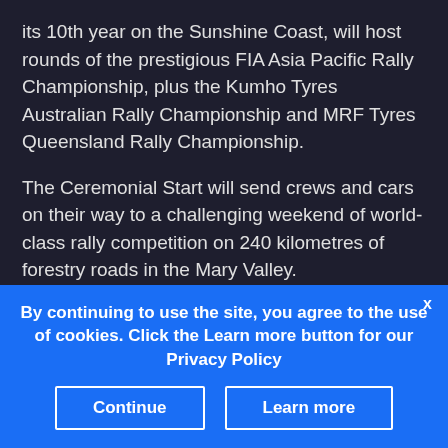its 10th year on the Sunshine Coast, will host rounds of the prestigious FIA Asia Pacific Rally Championship, plus the Kumho Tyres Australian Rally Championship and MRF Tyres Queensland Rally Championship.
The Ceremonial Start will send crews and cars on their way to a challenging weekend of world-class rally competition on 240 kilometres of forestry roads in the Mary Valley.
Champion international drivers including Gaurav Gill (India), Michael Young (New Zealand), Fabian
By continuing to use the site, you agree to the use of cookies. Click the Learn more button for our Privacy Policy